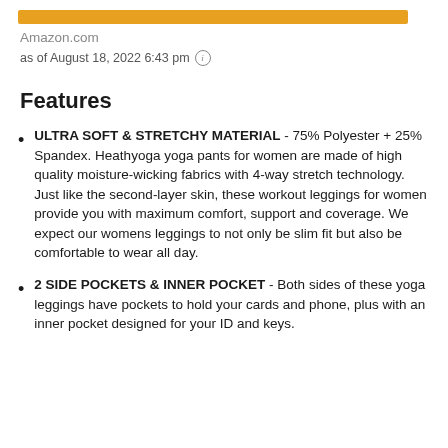[Figure (other): Orange horizontal bar decoration]
Amazon.com
as of August 18, 2022 6:43 pm ⓘ
Features
ULTRA SOFT & STRETCHY MATERIAL - 75% Polyester + 25% Spandex. Heathyoga yoga pants for women are made of high quality moisture-wicking fabrics with 4-way stretch technology. Just like the second-layer skin, these workout leggings for women provide you with maximum comfort, support and coverage. We expect our womens leggings to not only be slim fit but also be comfortable to wear all day.
2 SIDE POCKETS & INNER POCKET - Both sides of these yoga leggings have pockets to hold your cards and phone, plus with an inner pocket designed for your ID and keys.